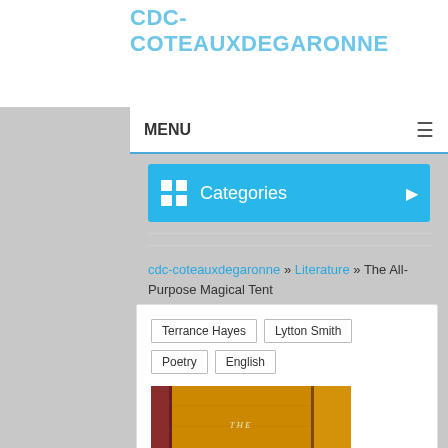CDC-COTEAUXDEGARONNE
MENU
Categories
cdc-coteauxdegaronne » Literature » The All-Purpose Magical Tent
Terrance Hayes
Lytton Smith
Poetry
English
[Figure (photo): Book cover of 'The All-Purpose Magical' showing stacked golden/orange books with white lettering]